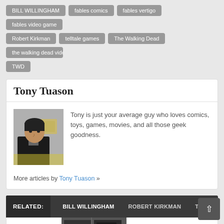BILL WILLINGHAM
fables comics
fables vertigo
fables video game
Robert Kirkman
telltale games
The Walking Dead
the walking dead vide
TWD
Tony Tuason
Tony is just your average guy who loves comics, toys, games, movies, and all those geek goodness.
More articles by Tony Tuason »
RELATED: BILL WILLINGHAM  ROBERT KIRKMAN  TELLTA
Vertigo's FABLES to
Vertigo Launches